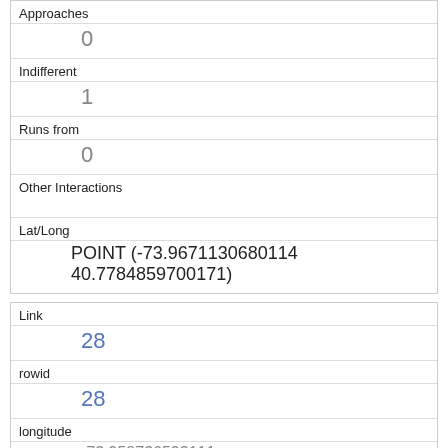| Approaches | 0 |
| Indifferent | 1 |
| Runs from | 0 |
| Other Interactions |  |
| Lat/Long | POINT (-73.9671130680114 40.7784859700171) |
| Link | 28 |
| rowid | 28 |
| longitude | -73.958736593111 |
| latitude | 40.790852437062604 |
| Unique Squirrel ID | 32E-PM-1008-07 |